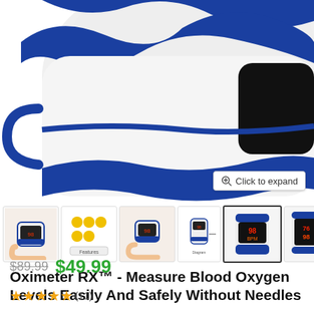[Figure (photo): Close-up photo of a blue and white pulse oximeter device, showing curved blue stripe design and black sensor opening against white background]
[Figure (screenshot): Row of product thumbnail images showing oximeter in various views: hand-held, multiple units, finger-worn, diagram view, front view (selected), and side view with display showing 76/98]
Oximeter RX™ - Measure Blood Oxygen Levels Easily And Safely Without Needles
$89.99 $49.99
★★★★★ (11)